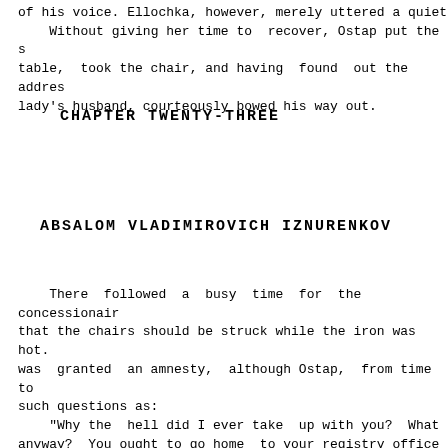of his voice. Ellochka, however, merely uttered a quiet
    Without giving her time to  recover, Ostap put the s
table,  took the chair, and having  found  out the addres
lady's husband, courteously bowed his way out.
CHAPTER TWENTY-THREE
ABSALOM VLADIMIROVICH IZNURENKOV
There  followed  a  busy  time  for  the  concessionair
that the chairs should be struck while the iron was hot.
was  granted  an amnesty,  although Ostap,  from time to
such questions as:
    "Why the  hell did I ever take  up with you?  What
anyway?  You ought to go home  to your registry office wh
newborn babes are  waiting for  you. Don't make  the infa
there!"
    But  in  his heart the smooth operator had become ve
the wild marshal. "Life wouldn't be such  fun without hi
he would glance now and then at  Ippolit  Matveyevich, wh
beginning to sprout a new crop of silvery hair.
    Ippolit Matveyevich's initiative was allotted a fai